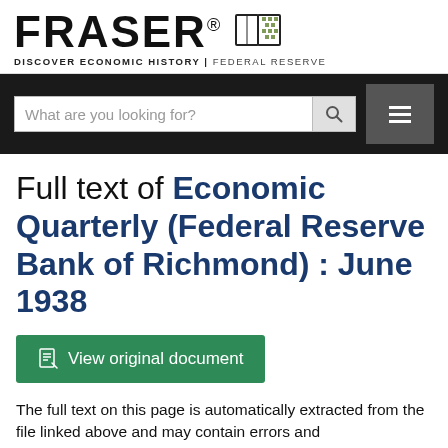[Figure (logo): FRASER logo with book icon and tagline: DISCOVER ECONOMIC HISTORY | FEDERAL RESERVE]
[Figure (screenshot): Search bar with placeholder 'What are you looking for?' and search icon, plus hamburger menu button on dark background]
Full text of Economic Quarterly (Federal Reserve Bank of Richmond) : June 1938
View original document
The full text on this page is automatically extracted from the file linked above and may contain errors and inconsistencies.